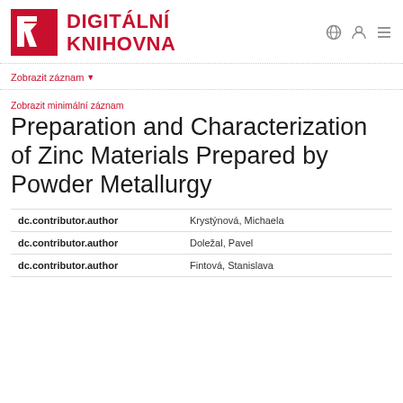DIGITÁLNÍ KNIHOVNA
Zobrazit záznam
Zobrazit minimální záznam
Preparation and Characterization of Zinc Materials Prepared by Powder Metallurgy
| Field | Value |
| --- | --- |
| dc.contributor.author | Krystýnová, Michaela |
| dc.contributor.author | Doležal, Pavel |
| dc.contributor.author | Fintová, Stanislava |